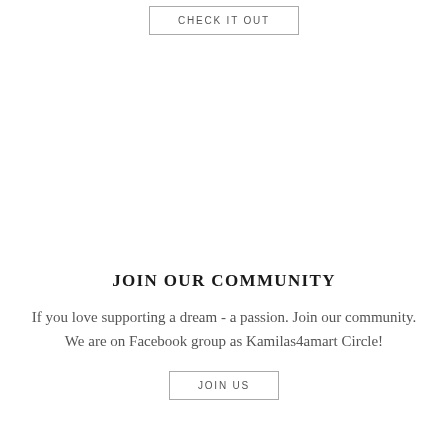CHECK IT OUT
JOIN OUR COMMUNITY
If you love supporting a dream - a passion. Join our community. We are on Facebook group as Kamilas4amart Circle!
JOIN US